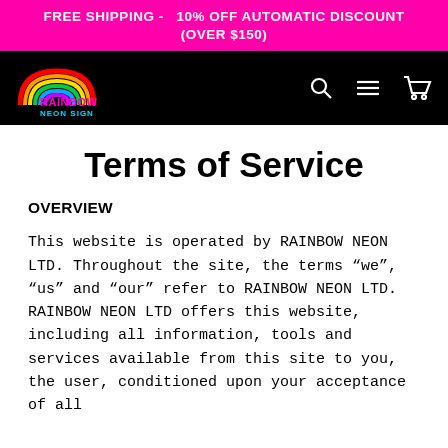FREE SHIPPING -   10% OFF AUTOMATIC DISCOUNT (OVER $150)
[Figure (logo): Rainbow Neon Sign logo with rainbow arc and colorful text on black navbar, with search, menu, and cart icons]
Terms of Service
OVERVIEW
This website is operated by RAINBOW NEON LTD. Throughout the site, the terms “we”, “us” and “our” refer to RAINBOW NEON LTD. RAINBOW NEON LTD offers this website, including all information, tools and services available from this site to you, the user, conditioned upon your acceptance of all